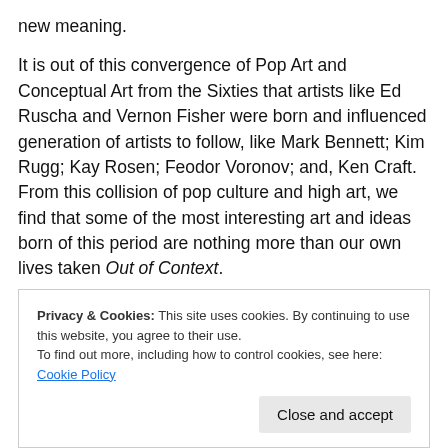new meaning.
It is out of this convergence of Pop Art and Conceptual Art from the Sixties that artists like Ed Ruscha and Vernon Fisher were born and influenced generation of artists to follow, like Mark Bennett; Kim Rugg; Kay Rosen; Feodor Voronov; and, Ken Craft. From this collision of pop culture and high art, we find that some of the most interesting art and ideas born of this period are nothing more than our own lives taken Out of Context.
Privacy & Cookies: This site uses cookies. By continuing to use this website, you agree to their use.
To find out more, including how to control cookies, see here: Cookie Policy
Close and accept